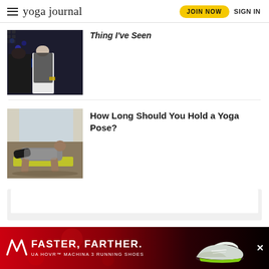yoga journal | JOIN NOW | SIGN IN
Thing I've Seen
[Figure (photo): Two men in dark suits standing indoors, one checks watch]
How Long Should You Hold a Yoga Pose?
[Figure (photo): Man in grey shirt doing a low plank/push-up yoga pose on mat indoors]
[Figure (screenshot): Under Armour advertisement banner: FASTER, FARTHER. UA HOVR MACHINA 3 RUNNING SHOES with shoe image]
[Figure (other): Light grey content box with white inner box]